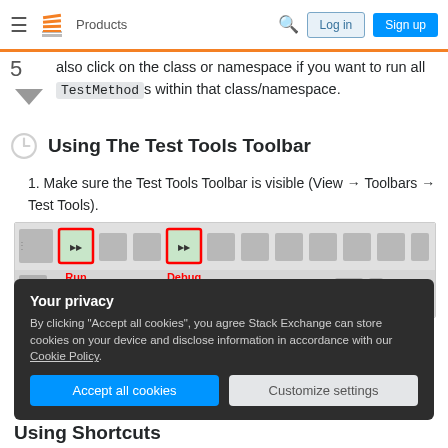≡  [Stack Overflow logo]  Products  🔍  Log in  Sign up
5  also click on the class or namespace if you want to run all TestMethods within that class/namespace.
Using The Test Tools Toolbar
1. Make sure the Test Tools Toolbar is visible (View → Toolbars → Test Tools).
[Figure (screenshot): Screenshot of the Test Tools Toolbar in an IDE, showing toolbar icons with 'Run' and 'Debug' labels highlighted with red boxes, and a bottom row showing Build, Rebuild, Debug, Deploy, Clean buttons.]
Your privacy
By clicking "Accept all cookies", you agree Stack Exchange can store cookies on your device and disclose information in accordance with our Cookie Policy.
[Accept all cookies] [Customize settings]
Using Shortcuts